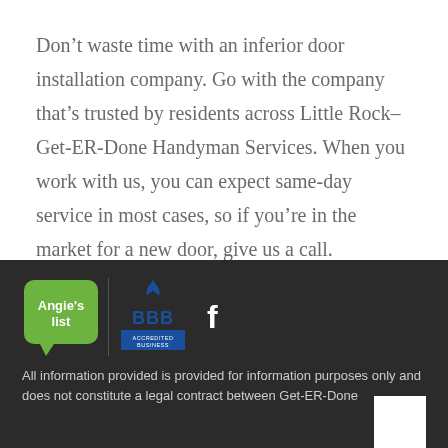Don't waste time with an inferior door installation company. Go with the company that's trusted by residents across Little Rock–Get-ER-Done Handyman Services. When you work with us, you can expect same-day service in most cases, so if you're in the market for a new door, give us a call.
[Figure (logo): Footer with Angie's List logo, BBB Accredited Business logo, and Facebook icon on dark background]
All information provided is provided for information purposes only and does not constitute a legal contract between Get-ER-Done